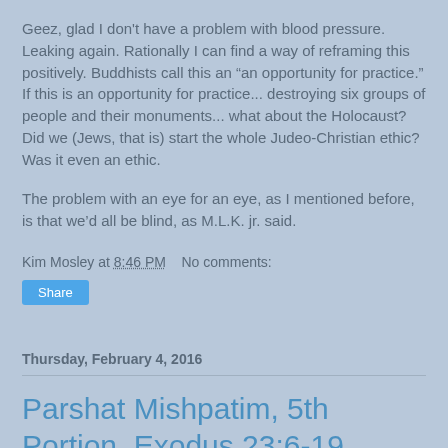Geez, glad I don't have a problem with blood pressure. Leaking again. Rationally I can find a way of reframing this positively. Buddhists call this an “an opportunity for practice.” If this is an opportunity for practice... destroying six groups of people and their monuments... what about the Holocaust? Did we (Jews, that is) start the whole Judeo-Christian ethic? Was it even an ethic.
The problem with an eye for an eye, as I mentioned before, is that we’d all be blind, as M.L.K. jr. said.
Kim Mosley at 8:46 PM    No comments:
Share
Thursday, February 4, 2016
Parshat Mishpatim, 5th Portion, Exodus 23:6-19, February 4, 2016